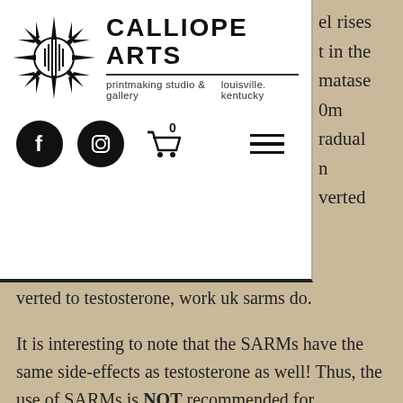CALLIOPE ARTS — printmaking studio & gallery — louisville. kentucky
verted to testosterone, work uk sarms do.
It is interesting to note that the SARMs have the same side-effects as testosterone as well! Thus, the use of SARMs is NOT recommended for individuals with a history of prior drug use which would lead to a testosterone level that is high enough for the body to convert testosterone to estrogen. As a result, for the majority of SARMs users, we recommend using testosterone only when necessary, as there are not many adverse side-effects related to this treatment, steroids